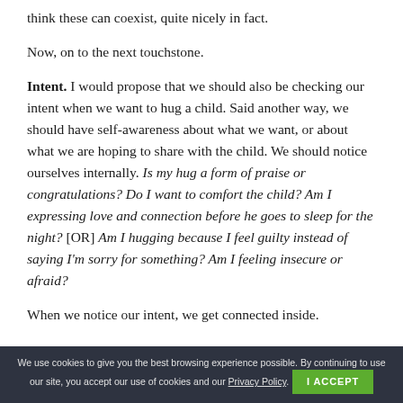think these can coexist, quite nicely in fact.
Now, on to the next touchstone.
Intent. I would propose that we should also be checking our intent when we want to hug a child. Said another way, we should have self-awareness about what we want, or about what we are hoping to share with the child. We should notice ourselves internally. Is my hug a form of praise or congratulations? Do I want to comfort the child? Am I expressing love and connection before he goes to sleep for the night? [OR] Am I hugging because I feel guilty instead of saying I'm sorry for something? Am I feeling insecure or afraid?
When we notice our intent, we get connected inside.
We use cookies to give you the best browsing experience possible. By continuing to use our site, you accept our use of cookies and our Privacy Policy.